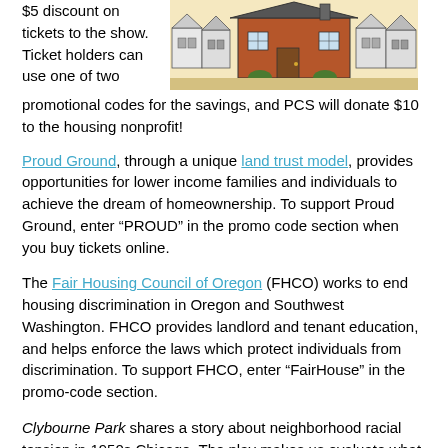$5 discount on tickets to the show. Ticket holders can use one of two promotional codes for the savings, and PCS will donate $10 to the housing nonprofit!
[Figure (illustration): Illustration of a row of houses with a prominent brick house in the center foreground]
Proud Ground, through a unique land trust model, provides opportunities for lower income families and individuals to achieve the dream of homeownership. To support Proud Ground, enter "PROUD" in the promo code section when you buy tickets online.
The Fair Housing Council of Oregon (FHCO) works to end housing discrimination in Oregon and Southwest Washington. FHCO provides landlord and tenant education, and helps enforce the laws which protect individuals from discrimination. To support FHCO, enter “FairHouse” in the promo-code section.
Clybourne Park shares a story about neighborhood racial tension in 1950s Chicago. The play makes us evaluate what has or not changed in our society. The playbill asks: “When our houses become our homes, and our neighborhoods become our identities, what will we do to protect them?” The play gives the audience a chance to re-live the challenges of the 1950s, and examine those